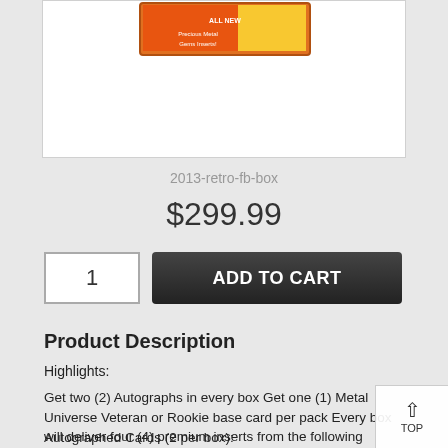[Figure (photo): Product image of 2013 retro football box showing trading card box with orange and yellow design]
2013-retro-fb-box
$299.99
1
ADD TO CART
Product Description
Highlights:
Get two (2) Autographs in every box Get one (1) Metal Universe Veteran or Rookie base card per pack Every box will deliver four (4) premium inserts from the following classics Breakdown:
Autographed Cards (2 per box):